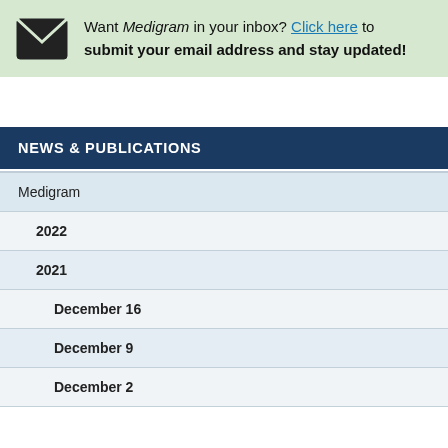Want Medigram in your inbox? Click here to submit your email address and stay updated!
NEWS & PUBLICATIONS
Medigram
2022
2021
December 16
December 9
December 2